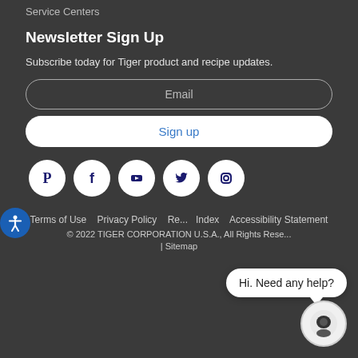Service Centers
Newsletter Sign Up
Subscribe today for Tiger product and recipe updates.
[Figure (screenshot): Email input field with placeholder text 'Email', rounded border]
[Figure (screenshot): Sign up button, white rounded rectangle with blue text 'Sign up']
[Figure (infographic): Social media icons row: Pinterest, Facebook, YouTube, Twitter, Instagram — white circles on dark background]
Terms of Use  Privacy Policy  R[eturn]...  Index  Accessibility Statement
© 2022 TIGER CORPORATION U.S.A., All Rights Rese[rved] | Sitemap